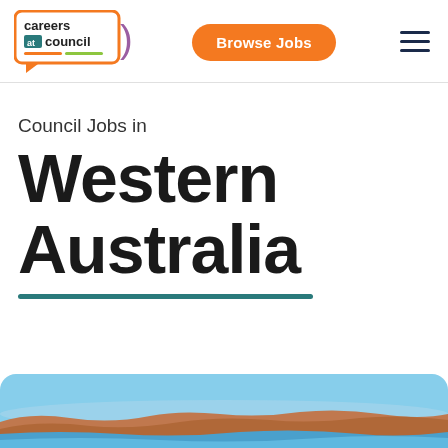[Figure (logo): Careers at Council logo with orange speech bubble outline, teal 'at' badge, green and orange underlines, purple closing bracket]
Browse Jobs
[Figure (other): Hamburger menu icon with three horizontal lines]
Council Jobs in
Western Australia
[Figure (photo): Coastal landscape of Western Australia with blue sky, red/orange cliffs and blue water at the bottom of the page]